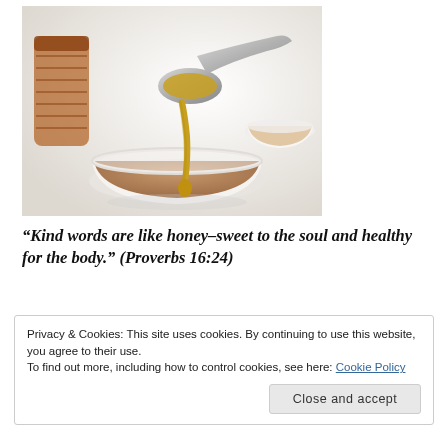[Figure (photo): A silver spoon dripping golden honey into a small white ceramic bowl, with amber honey jars in the background on a white surface.]
“Kind words are like honey–sweet to the soul and healthy for the body.” (Proverbs 16:24)
Privacy & Cookies: This site uses cookies. By continuing to use this website, you agree to their use.
To find out more, including how to control cookies, see here: Cookie Policy
Close and accept